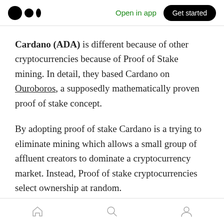Open in app | Get started
Cardano (ADA) is different because of other cryptocurrencies because of Proof of Stake mining. In detail, they based Cardano on Ouroboros, a supposedly mathematically proven proof of stake concept.
By adopting proof of stake Cardano is a trying to eliminate mining which allows a small group of affluent creators to dominate a cryptocurrency market. Instead, Proof of stake cryptocurrencies select ownership at random.
Home | Search | Profile